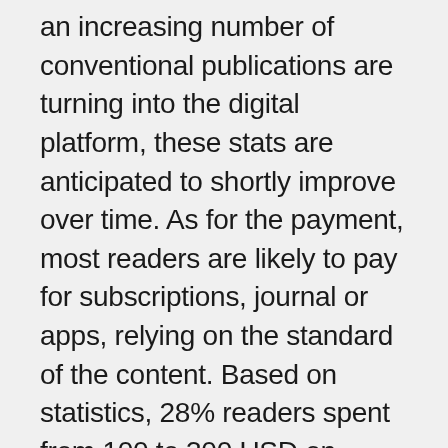an increasing number of conventional publications are turning into the digital platform, these stats are anticipated to shortly improve over time. As for the payment, most readers are likely to pay for subscriptions, journal or apps, relying on the standard of the content. Based on statistics, 28% readers spent from 100 to 300 USD on digital magazines per 12 months, while more than half spend greater than 100 USD.
Mobile repairing covers core hardware and the software issues. A software program is primarily in SD, so they both...